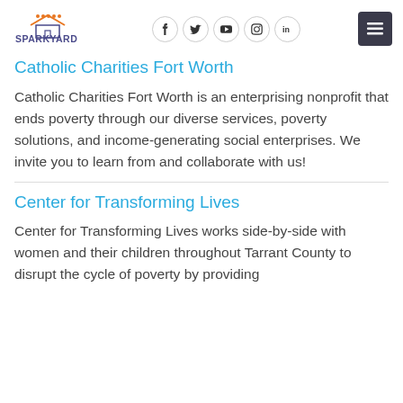Sparkyard — The Right Resources at the Right Time (logo, social icons, hamburger menu)
Catholic Charities Fort Worth
Catholic Charities Fort Worth is an enterprising nonprofit that ends poverty through our diverse services, poverty solutions, and income-generating social enterprises. We invite you to learn from and collaborate with us!
Center for Transforming Lives
Center for Transforming Lives works side-by-side with women and their children throughout Tarrant County to disrupt the cycle of poverty by providing